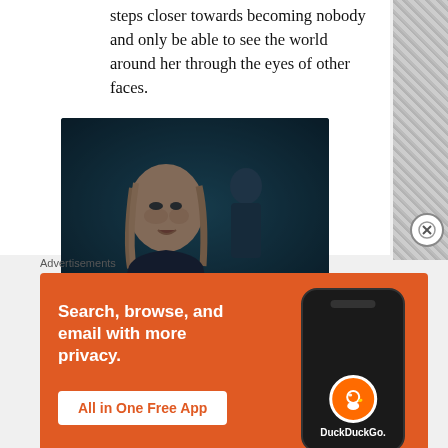steps closer towards becoming nobody and only be able to see the world around her through the eyes of other faces.
[Figure (photo): A dark blue-tinted scene showing a young woman with blonde hair in the foreground looking distressed, and another figure in the background. Scene from a TV show (Game of Thrones), captioned as Arya losing her vision.]
Arya losing her vision
Advertisements
[Figure (screenshot): DuckDuckGo advertisement banner with orange background. Text reads: Search, browse, and email with more privacy. All in One Free App. Shows a smartphone with the DuckDuckGo app logo and name.]